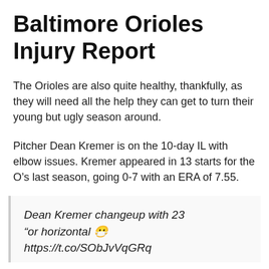Baltimore Orioles Injury Report
The Orioles are also quite healthy, thankfully, as they will need all the help they can get to turn their young but ugly season around.
Pitcher Dean Kremer is on the 10-day IL with elbow issues. Kremer appeared in 13 starts for the O’s last season, going 0-7 with an ERA of 7.55.
Dean Kremer changeup with 23 “or horizontal 😷 https://t.co/SObJvVqGRq